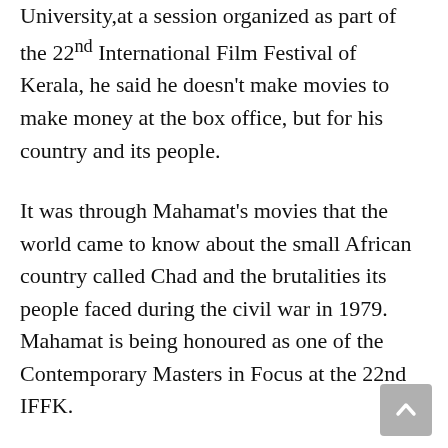University,at a session organized as part of the 22nd International Film Festival of Kerala, he said he doesn't make movies to make money at the box office, but for his country and its people.
It was through Mahamat's movies that the world came to know about the small African country called Chad and the brutalities its people faced during the civil war in 1979. Mahamat is being honoured as one of the Contemporary Masters in Focus at the 22nd IFFK.
Cinema is something more than the box office and making money. Sometimes it has to be political. The films we had been seeing were those from Hollywood and Bollywood in the beginning. We didn't have a movie of our own and we